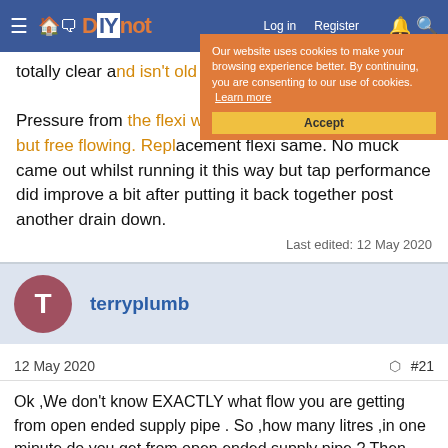DIYnot navigation bar
Our website uses cookies to make your browsing experience better. By continuing, you are consenting to our use of cookies. Learn more
Accept
totally clear and isn't old as replaced it last year.

Pressure from the flexi wasn't what I would call strong, but free flowing. Replacement flexi same. No muck came out whilst running it this way but tap performance did improve a bit after putting it back together post another drain down.

Last edited: 12 May 2020
terryplumb
12 May 2020  #21
Ok ,We don't know EXACTLY what flow you are getting from open ended supply pipe . So ,how many litres ,in one minute do you get from open ended supply pipe ? Then connect isolator and Flexi hose to supply pipe ,but do not connect to tap ,and again measure the flow rate.
As a rule of thumb it's ok shown...